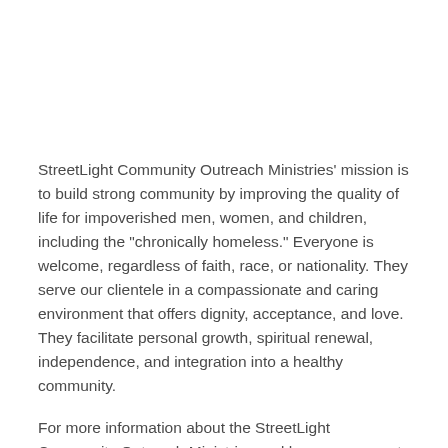StreetLight Community Outreach Ministries' mission is to build strong community by improving the quality of life for impoverished men, women, and children, including the "chronically homeless." Everyone is welcome, regardless of faith, race, or nationality. They serve our clientele in a compassionate and caring environment that offers dignity, acceptance, and love. They facilitate personal growth, spiritual renewal, independence, and integration into a healthy community.
For more information about the StreetLight Community Outreach Ministries and how you can get involved helping the homeless, please visit: http://thestreetlight.org/